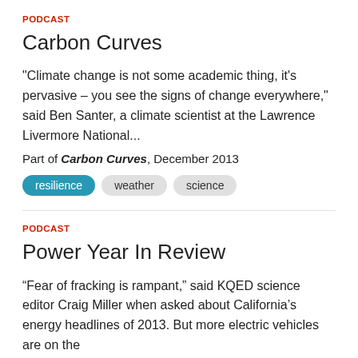PODCAST
Carbon Curves
"Climate change is not some academic thing, it's pervasive – you see the signs of change everywhere," said Ben Santer, a climate scientist at the Lawrence Livermore National...
Part of Carbon Curves, December 2013
resilience
weather
science
PODCAST
Power Year In Review
“Fear of fracking is rampant,” said KQED science editor Craig Miller when asked about California’s energy headlines of 2013. But more electric vehicles are on the